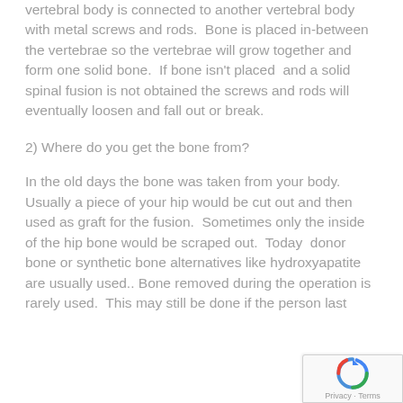vertebral body is connected to another vertebral body with metal screws and rods.  Bone is placed in-between the vertebrae so the vertebrae will grow together and form one solid bone.  If bone isn't placed  and a solid spinal fusion is not obtained the screws and rods will eventually loosen and fall out or break.
2) Where do you get the bone from?
In the old days the bone was taken from your body.  Usually a piece of your hip would be cut out and then used as graft for the fusion.  Sometimes only the inside of the hip bone would be scraped out.  Today  donor bone or synthetic bone alternatives like hydroxyapatite are usually used.. Bone removed during the operation is rarely used.  This may still be done if the person last